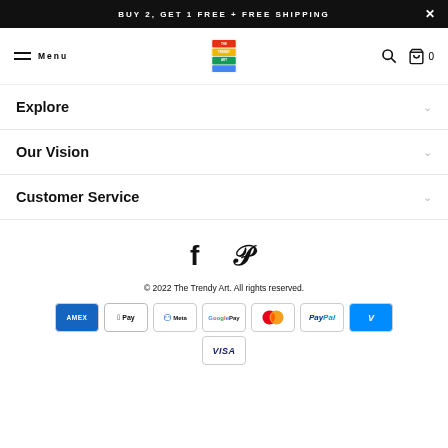BUY 2, GET 1 FREE + FREE SHIPPING
Menu — The Trendy Art logo — Search — Cart 0
Explore
Our Vision
Customer Service
[Figure (illustration): Facebook and Pinterest social media icons]
© 2022 The Trendy Art. All rights reserved.
[Figure (illustration): Payment method badges: Amex, Apple Pay, Meta Pay, Google Pay, Mastercard, PayPal, Venmo, Visa]